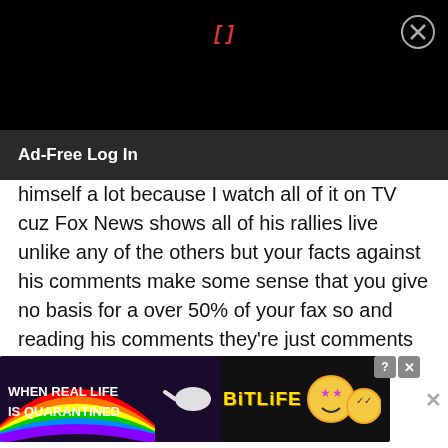[Figure (screenshot): Black top banner area with red bracket text '[]' centered and a circular X close button in the top right]
Ad-Free Log In
himself a lot because I watch all of it on TV cuz Fox News shows all of his rallies live unlike any of the others but your facts against his comments make some sense that you give no basis for a over 50% of your fax so and reading his comments they're just comments they're not really facts so whatever.
[Figure (screenshot): BitLife advertisement banner with rainbow background on left, 'WHEN REAL LIFE IS QUARANTINED' text, BitLife logo in yellow with emoji icons]